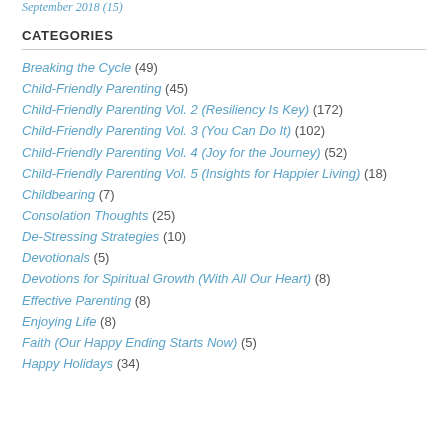September 2018 (15)
CATEGORIES
Breaking the Cycle (49)
Child-Friendly Parenting (45)
Child-Friendly Parenting Vol. 2 (Resiliency Is Key) (172)
Child-Friendly Parenting Vol. 3 (You Can Do It) (102)
Child-Friendly Parenting Vol. 4 (Joy for the Journey) (52)
Child-Friendly Parenting Vol. 5 (Insights for Happier Living) (18)
Childbearing (7)
Consolation Thoughts (25)
De-Stressing Strategies (10)
Devotionals (5)
Devotions for Spiritual Growth (With All Our Heart) (8)
Effective Parenting (8)
Enjoying Life (8)
Faith (Our Happy Ending Starts Now) (5)
Happy Holidays (34)